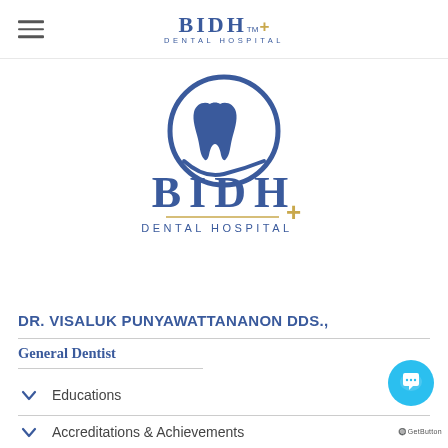BIDH DENTAL HOSPITAL
[Figure (logo): BIDH Dental Hospital large logo: blue circular emblem with dental implant tooth icon above large blue letters BIDH with a gold plus sign and DENTAL HOSPITAL text beneath a gold horizontal line]
DR. VISALUK PUNYAWATTANANON DDS.,
General Dentist
Educations
Accreditations & Achievements